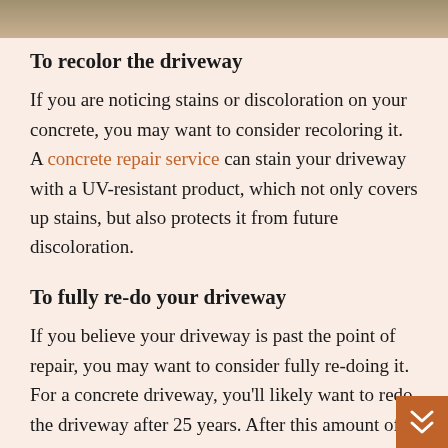[Figure (photo): Partial image strip at top of page showing a driveway or concrete surface texture.]
To recolor the driveway
If you are noticing stains or discoloration on your concrete, you may want to consider recoloring it. A concrete repair service can stain your driveway with a UV-resistant product, which not only covers up stains, but also protects it from future discoloration.
To fully re-do your driveway
If you believe your driveway is past the point of repair, you may want to consider fully re-doing it. For a concrete driveway, you’ll likely want to redo the driveway after 25 years. After this amount of